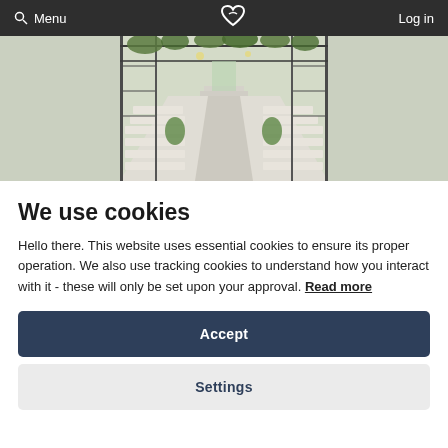Menu | SA logo | Log in
[Figure (photo): Interior of a greenhouse-style wedding venue with rows of white chairs, greenery hanging from the ceiling, large metal-frame windows, and chandeliers.]
We use cookies
Hello there. This website uses essential cookies to ensure its proper operation. We also use tracking cookies to understand how you interact with it - these will only be set upon your approval. Read more
Accept
Settings